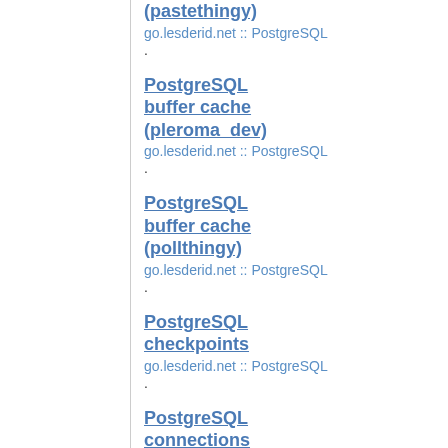(pastethingy)
go.lesderid.net :: PostgreSQL
PostgreSQL buffer cache (pleroma_dev)
go.lesderid.net :: PostgreSQL
PostgreSQL buffer cache (pollthingy)
go.lesderid.net :: PostgreSQL
PostgreSQL checkpoints
go.lesderid.net :: PostgreSQL
PostgreSQL connections
go.lesderid.net :: PostgreSQL
PostgreSQL connections (eientei_prod)
go.lesderid.net :: PostgreSQL